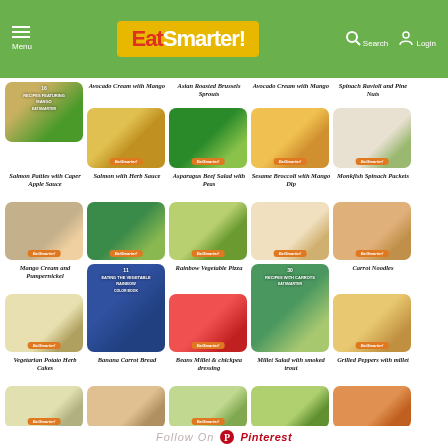EatSmarter! — Menu | Search | Login
[Figure (screenshot): EatSmarter website screenshot showing a grid of recipe cards including: 16 Recipes Featuring Mango, Avocado Cream with Mango, Asian Roasted Brussels Sprouts, Avocado Cream with Mango, Spinach Ravioli and Pine Nuts, Salmon Patties with Caper Apple Sauce, Salmon with Herb Sauce, Asparagus Beef Salad with Peas, Sesame Broccoli with Mango Dip, Monkfish Spinach Packets, Mango Cream and Pumpernickel, 11 Eating the Vegetable Rainbow, Rainbow Vegetable Pizza, 30 Recipes with Carrots, Carrot Noodles, Vegetarian Potato Herb Cakes, Banana Carrot Bread, Beans Millet & chickpea dressing, Millet Salad with smoked trout, Grilled Peppers with millet]
Follow On Pinterest